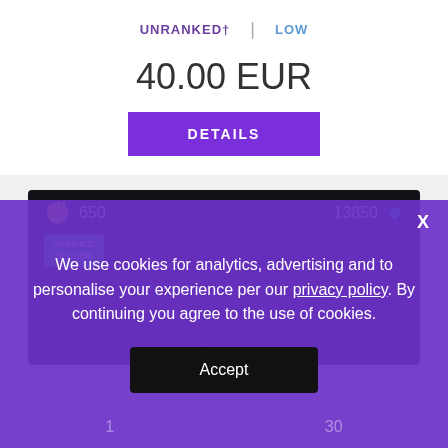UNRANKED† | LOW
40.00 EUR
DETAILS
650
13850
VERIFIED SELLER
We use cookies for analytics, advertising and to personalise your experience per our privacy policy. By continuing you agree to the use of cookies.
Accept